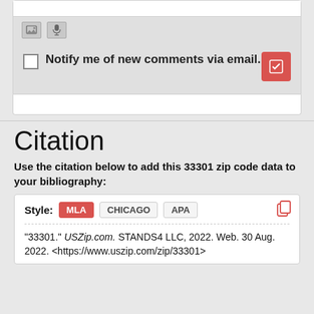[Figure (screenshot): Web form toolbar with image and microphone icons on a gray background]
Notify me of new comments via email.
Citation
Use the citation below to add this 33301 zip code data to your bibliography:
Style: MLA CHICAGO APA
"33301." USZip.com. STANDS4 LLC, 2022. Web. 30 Aug. 2022. <https://www.uszip.com/zip/33301>.